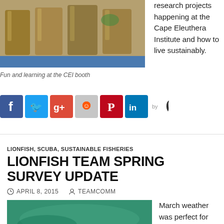[Figure (photo): Photo of glass specimen jars/bottles on a blue surface at the CEI booth]
Fun and learning at the CEI booth
research projects happening at the Cape Eleuthera Institute and how to live sustainably.
[Figure (infographic): Social media share icons: Facebook, Twitter, Google+, Reddit, Pinterest, LinkedIn, by chili pepper logo]
LIONFISH, SCUBA, SUSTAINABLE FISHERIES
LIONFISH TEAM SPRING SURVEY UPDATE
APRIL 8, 2015   TEAMCOMM
[Figure (photo): Underwater photo with green-tinted water]
March weather was perfect for the lionfish team as